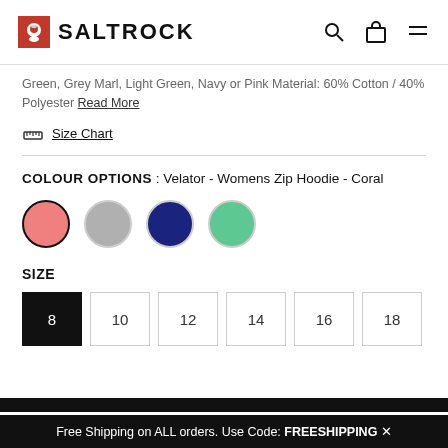SALTROCK
Green, Grey Marl, Light Green, Navy or Pink Material: 60% Cotton / 40% Polyester Read More
Size Chart
COLOUR OPTIONS : Velator - Womens Zip Hoodie - Coral
[Figure (other): Four colour swatches: coral (selected), grey, navy, light green]
SIZE
Size options: 8 (selected), 10, 12, 14, 16, 18
Free Shipping on ALL orders. Use Code: FREESHIPPING X